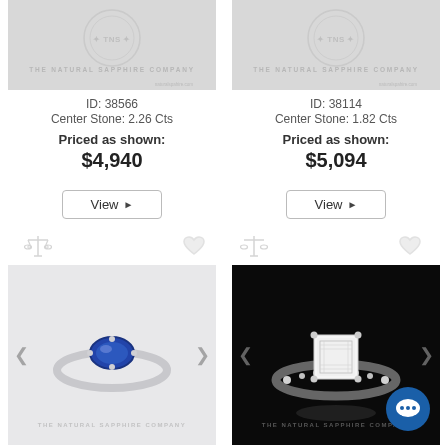[Figure (photo): Top left: watermarked product image placeholder for ring ID 38566, light gray background with The Natural Sapphire Company watermark]
ID: 38566
Center Stone: 2.26 Cts
Priced as shown:
$4,940
[Figure (screenshot): View button for product 38566]
[Figure (photo): Top right: watermarked product image placeholder for ring ID 38114, light gray background with The Natural Sapphire Company watermark]
ID: 38114
Center Stone: 1.82 Cts
Priced as shown:
$5,094
[Figure (screenshot): View button for product 38114]
[Figure (photo): Bottom left: photo of sapphire solitaire ring on white/gray background, blue oval sapphire center stone, white gold or platinum band, The Natural Sapphire Company watermark. ID: 65834]
ID: 65834
[Figure (photo): Bottom right: photo of diamond ring on dark/black background, emerald cut center stone with diamond pave band, The Natural Sapphire Company watermark, chat bubble icon. ID: 43843]
ID: 43843